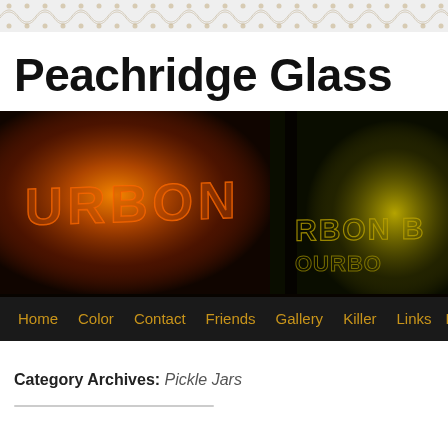Peachridge Glass — ornamental header bar
Peachridge Glass
[Figure (photo): Close-up photograph of two antique glass bottles with embossed text reading 'BOURBON', one amber/orange-tinted and one yellow-green tinted, on a dark background. Navigation bar overlaid at bottom with links: Home, Color, Contact, Friends, Gallery, Killer, Links, Pe...]
Category Archives: Pickle Jars